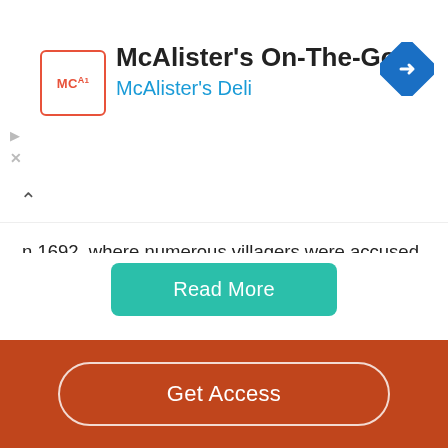[Figure (logo): McAlister's On-The-Go advertisement banner with MCA logo and navigation diamond icon]
n 1692, where numerous villagers were accused and hanged for witchcraft. The play explores key thematic concerns of morality, religion and life. The related text ‘Homecoming’ written by Bruce Dawe in 1968 is an anti-war poem protesting Australia’s involvement in the Vietnam War during the 1960s. It explores the brutal and futile nature of war, death and a collective stance against authority. Through the use of numerous literary and dramatic…
Read More
Get Access